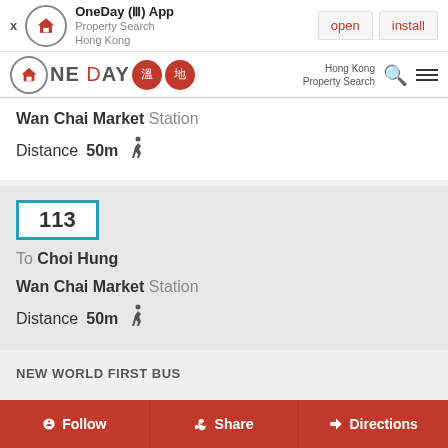[Figure (screenshot): App install banner for OneDay (III) App - Property Search Hong Kong with open and install buttons]
[Figure (logo): OneDay property search Hong Kong logo with red circular icon and two red Chinese character badges]
Wan Chai Market Station
Distance 50m
113
To Choi Hung
Wan Chai Market Station
Distance 50m
NEW WORLD FIRST BUS
Follow
Share
Directions